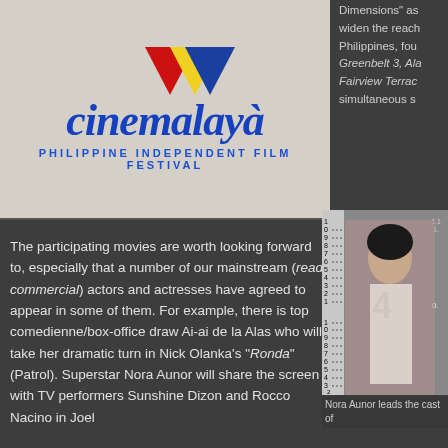[Figure (logo): Cinemalaya Philippine Independent Film Festival logo with colorful flag design and blue italic text]
Dimensions" as widen the reach Philippines, fou Greenbelt 3, Ala Fairview Terrac simultaneous s
The participating movies are worth looking forward to, especially that a number of our mainstream (read: commercial) actors and actresses have agreed to appear in some of them. For example, there is top comedienne/box-office draw Ai-ai de la Alas who will take her dramatic turn in Nick Olanka's "Ronda" (Patrol). Superstar Nora Aunor will share the screen with TV performers Sunshine Dizon and Rocco Nacino in Joel
[Figure (photo): Mugshot-style photo of a person (Nora Aunor) standing against a height measurement board]
Nora Aunor leads the cast of